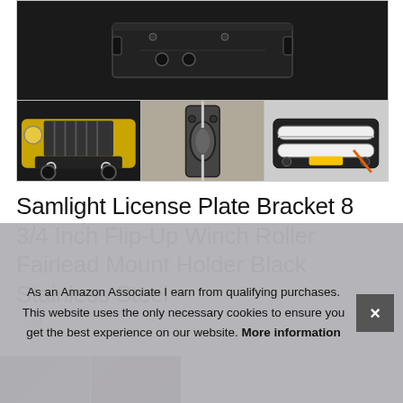[Figure (photo): Product photo collage: main image shows a black steel license plate bracket/fairlead mount on dark background; three thumbnails below show a yellow Jeep with front bumper, a close-up of the mount mechanism, and a winch roller assembly.]
Samlight License Plate Bracket 8 3/4 Inch Flip-Up Winch Roller Fairlead Mount Holder Black Stainless Steel
#ad
As an Amazon Associate I earn from qualifying purchases. This website uses the only necessary cookies to ensure you get the best experience on our website. More information
[Figure (photo): Bottom thumbnail strip showing two small product images: one dark/black product and one with red accent.]